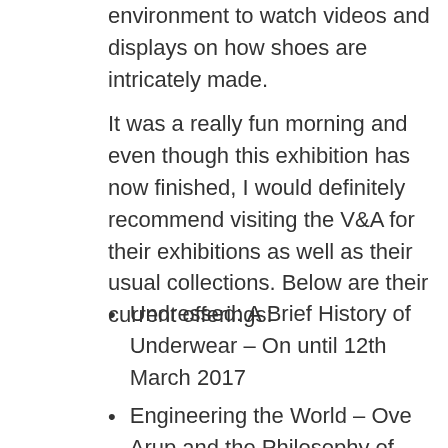environment to watch videos and displays on how shoes are intricately made.
It was a really fun morning and even though this exhibition has now finished, I would definitely recommend visiting the V&A for their exhibitions as well as their usual collections. Below are their current offerings:
Undressed: A Brief History of Underwear – On until 12th March 2017
Engineering the World – Ove Arup and the Philosophy of Total Design – On until 6th November 2016
You Say You Want a Revolution? Record and Rebels 1966-1970 – On until 26th